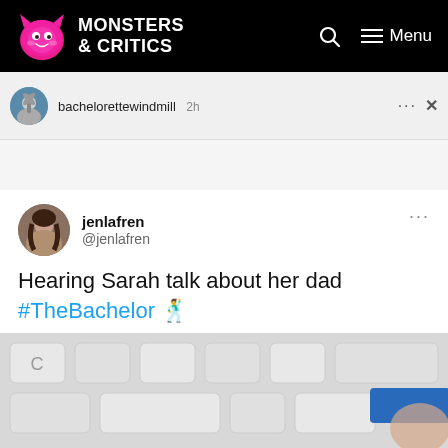MONSTERS & CRITICS
[Figure (screenshot): Instagram story bar showing username 'bachelorettewindmill' with timestamp '2h', three dots menu, and X close button]
[Figure (screenshot): Tweet by jenlafren (@jenlafren) reading: Hearing Sarah talk about her dad #TheBachelor [man emoji]]
[Figure (photo): Close-up photo of keyboard keys, blurred, with a blue credit card visible]